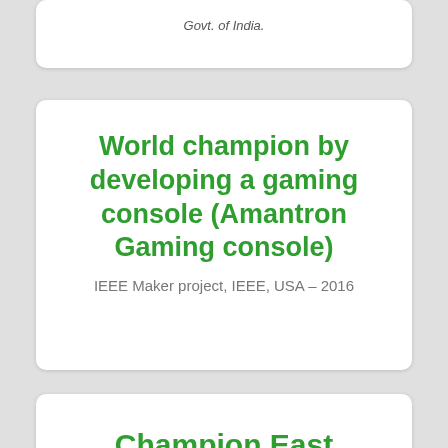Govt. of India.
World champion by developing a gaming console (Amantron Gaming console)
IEEE Maker project, IEEE, USA – 2016
Champion East
NEN (National Entrepreneurship Network) E-Week, 2011-2016